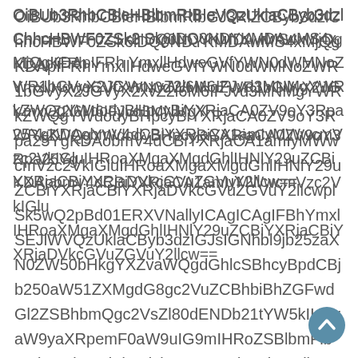OiBUb3RhbCBleHBlbmRlbGJ3RlZCByb3dzlChhcHBWF0ZSk6lDQ0NDYKMDAwMS4xMjQgKDApIFRhYmxllHdweGVfYWN0dWMNoZWR1bGVyX2JGVyX2xvZ2l6M6IFJvd3MNMgYWRkZWQgYWdodyBHpcyBiYXRjaCA0ZV9oY3Rpa25YgKDAobmV4dCBiYXRjaCA1amIyMWwcmVzc2VkIGluIHRoaXMgaXMgdGhlIHNlY29uZCBiYXRjaCBiYXRjaDVkcGVuZGVuY2llcwplSk5wQ2pBd01ERXVNallyICAgICAgIFBhYmxlSEJlWVQzUklaCByb3dzIGJsIGNhbl9jb25zaXN0ZW50bHkgYXZvaWQgdGhlcSBhcyBpdCBjb250aW51ZXMgdG8gc2VuZCBhbiBhZGFwdGl2ZSBhbmQgc2VsZl80dENDb21tYW5kIHByaW9yaXRpemF0aW9uIG9mIHRoZSBlbmFibGVkIHNjaGVkdWxlckZXVmY1dWRleHRlbmRlZCBzdGF0ZSBvZiBkYXRhYmFzZWdlIGZvciBuZXh0IGJhdGNoIHNlc3Npb24gb2YgdGhlIHVwZGF0ZWRnTUNBb2RXNWpiMjF3Y21WemMyVmtJR0o1ZEdWeklHbHU=